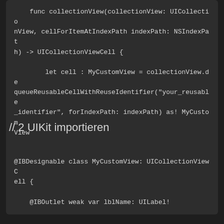func collectionView(collectionView: UICollectionView, cellForItemAtIndexPath indexPath: NSIndexPath) -> UICollectionViewCell {

        let cell : MyCustomView = collectionView.dequeueReusableCellWithReuseIdentifier("your_reusable_identifier", forIndexPath: indexPath) as! MyCustomView

        cell.lblName.text = "MyNewName"
        return cell
    }
}
// 2 UIKit importieren
@IBDesignable class MyCustomView: UICollectionViewCell {

    @IBOutlet weak var lblName: UILabel!